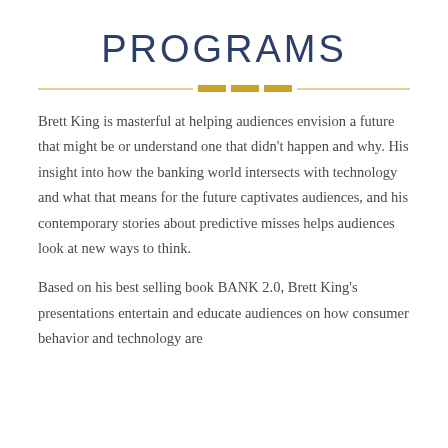PROGRAMS
Brett King is masterful at helping audiences envision a future that might be or understand one that didn't happen and why. His insight into how the banking world intersects with technology and what that means for the future captivates audiences, and his contemporary stories about predictive misses helps audiences look at new ways to think.
Based on his best selling book BANK 2.0, Brett King's presentations entertain and educate audiences on how consumer behavior and technology are